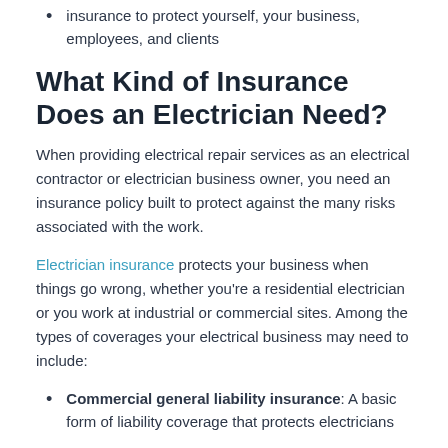insurance to protect yourself, your business, employees, and clients
What Kind of Insurance Does an Electrician Need?
When providing electrical repair services as an electrical contractor or electrician business owner, you need an insurance policy built to protect against the many risks associated with the work.
Electrician insurance protects your business when things go wrong, whether you’re a residential electrician or you work at industrial or commercial sites. Among the types of coverages your electrical business may need to include:
Commercial general liability insurance: A basic form of liability coverage that protects electricians